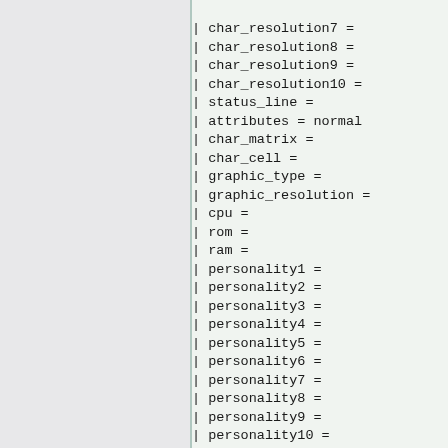| char_resolution7 =
| char_resolution8 =
| char_resolution9 =
| char_resolution10 =
| status_line =
| attributes = normal
| char_matrix =
| char_cell =
| graphic_type =
| graphic_resolution =
| cpu =
| rom =
| ram =
| personality1 =
| personality2 =
| personality3 =
| personality4 =
| personality5 =
| personality6 =
| personality7 =
| personality8 =
| personality9 =
| personality10 =
| personality11 =
| personality12 =